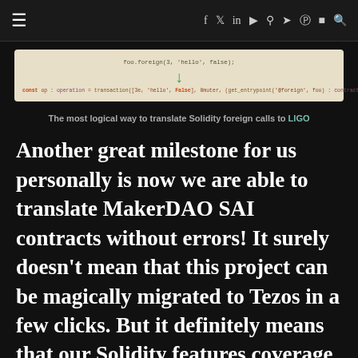≡  f  𝕏  in  ▶  ⌬  ✈  𝕣  □  🔍
[Figure (screenshot): Code snippet showing foo.foreign(3, 'hello', false) with a green arrow pointing down to: const op : operation = transaction([3e, 'hello', False], 0muter, (get_entrypoint('@foreign', foo) : contract(int, string, bool)))]
The most logical way to translate Solidity foreign calls to LIGO
Another great milestone for us personally is now we are able to translate MakerDAO SAI contracts without errors! It surely doesn't mean that this project can be magically migrated to Tezos in a few clicks. But it definitely means that our Solidity features coverage is quite large so it can